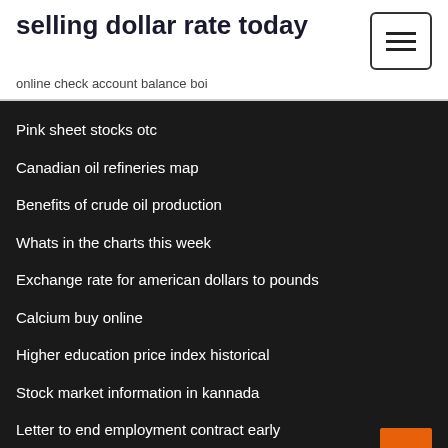selling dollar rate today
online check account balance boi
Pink sheet stocks otc
Canadian oil refineries map
Benefits of crude oil production
Whats in the charts this week
Exchange rate for american dollars to pounds
Calcium buy online
Higher education price index historical
Stock market information in kannada
Letter to end employment contract early
Oil petrol mixture